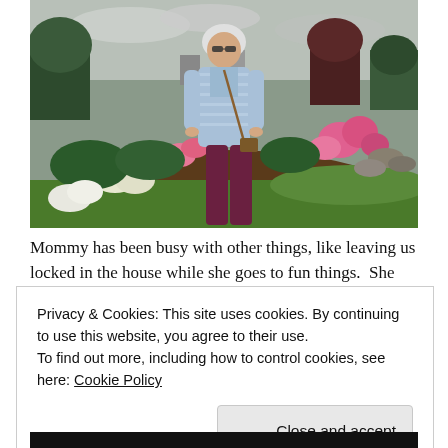[Figure (photo): An elderly woman with white hair and sunglasses wearing a light blue striped jacket and dark red/maroon pants, standing in a flower garden with pink and white flowers, green bushes, and a lawn in the background.]
Mommy has been busy with other things, like leaving us locked in the house while she goes to fun things.  She just
Privacy & Cookies: This site uses cookies. By continuing to use this website, you agree to their use.
To find out more, including how to control cookies, see here: Cookie Policy
Close and accept